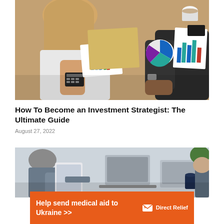[Figure (photo): Overhead view of business people around a table with charts, graphs, and a calculator. One person with blonde hair is using a calculator, another in dark clothing is pointing at documents.]
How To Become an Investment Strategist: The Ultimate Guide
August 27, 2022
[Figure (photo): Business meeting scene with people using tablets and laptops in a modern office setting.]
Help send medical aid to Ukraine >>